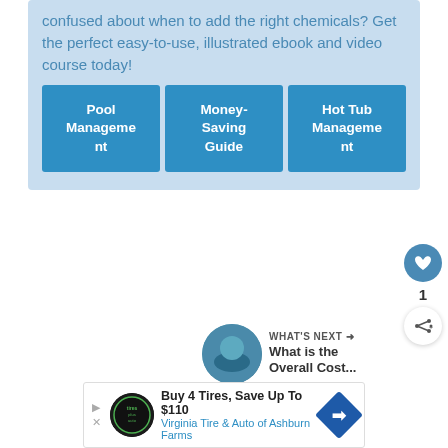confused about when to add the right chemicals? Get the perfect easy-to-use, illustrated ebook and video course today!
[Figure (infographic): Three blue buttons labeled Pool Management, Money-Saving Guide, and Hot Tub Management]
[Figure (infographic): Social interaction widget with heart/like button showing count 1 and a share button]
WHAT'S NEXT → What is the Overall Cost...
Buy 4 Tires, Save Up To $110 Virginia Tire & Auto of Ashburn Farms